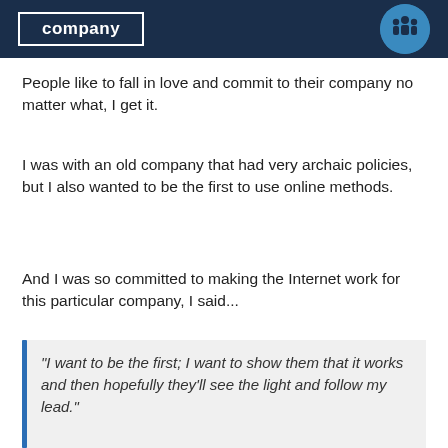[Figure (illustration): Dark navy header bar with white bordered label reading 'company' and a circular illustration showing a group of business people figures on a teal/blue background]
People like to fall in love and commit to their company no matter what, I get it.
I was with an old company that had very archaic policies, but I also wanted to be the first to use online methods.
And I was so committed to making the Internet work for this particular company, I said...
“I want to be the first; I want to show them that it works and then hopefully they’ll see the light and follow my lead.”